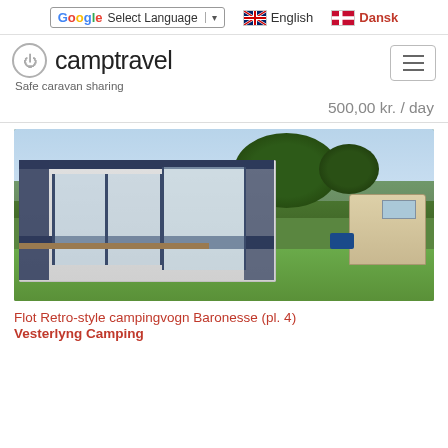Select Language | English | Dansk
camptravel — Safe caravan sharing
500,00 kr. / day
[Figure (photo): A caravan with a large grey and dark navy awning with clear panel windows on green grass, with trees visible in the background. A blue item is visible beside the caravan.]
Flot Retro-style campingvogn Baronesse (pl. 4)
Vesterlyng Camping